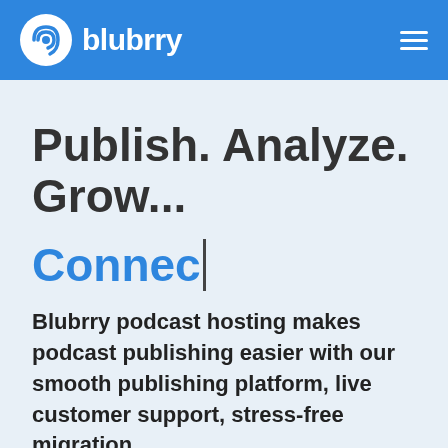[Figure (logo): Blubrry logo in white on blue navigation bar, with a circular icon showing sound waves and the text 'blubrry' in white bold font]
Publish. Analyze. Grow...
Connec|
Blubrry podcast hosting makes podcast publishing easier with our smooth publishing platform, live customer support, stress-free migration